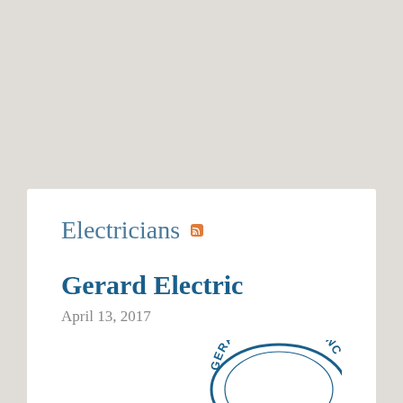Electricians
Gerard Electric
April 13, 2017
Get great
[Figure (logo): Gerard Electric, Inc. circular logo in blue with 'Since' text visible at bottom]